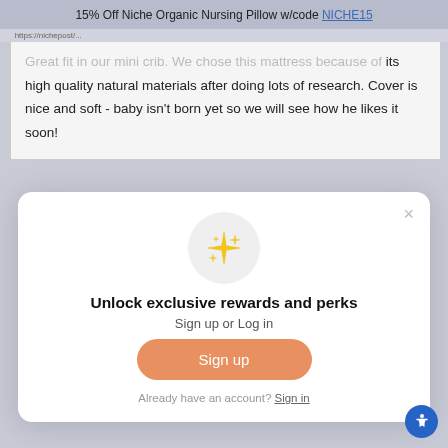15% Off Niche Organic Nursing Pillow w/code NICHE15
Great fit in our mini crib. We chose this mattress because of its high quality natural materials after doing lots of research. Cover is nice and soft - baby isn't born yet so we will see how he likes it soon!
Unlock exclusive rewards and perks
Sign up or Log in
Sign up
Already have an account? Sign in